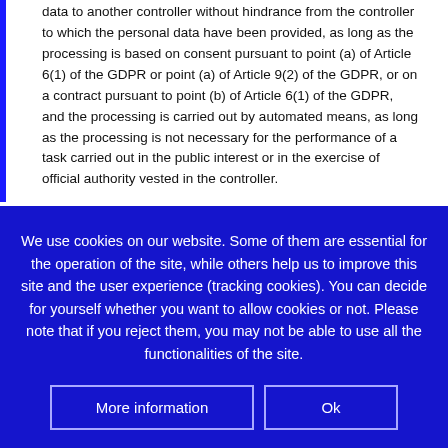data to another controller without hindrance from the controller to which the personal data have been provided, as long as the processing is based on consent pursuant to point (a) of Article 6(1) of the GDPR or point (a) of Article 9(2) of the GDPR, or on a contract pursuant to point (b) of Article 6(1) of the GDPR, and the processing is carried out by automated means, as long as the processing is not necessary for the performance of a task carried out in the public interest or in the exercise of official authority vested in the controller.
We use cookies on our website. Some of them are essential for the operation of the site, while others help us to improve this site and the user experience (tracking cookies). You can decide for yourself whether you want to allow cookies or not. Please note that if you reject them, you may not be able to use all the functionalities of the site.
More information
Ok